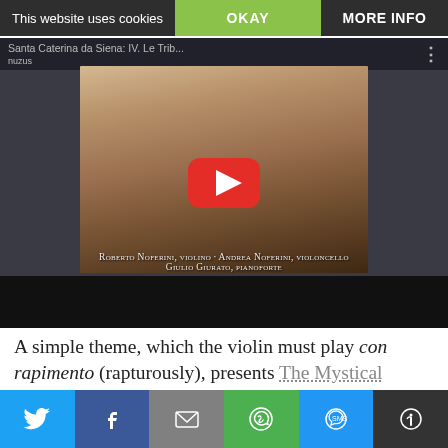This website uses cookies
OKAY
MORE INFO
[Figure (screenshot): YouTube video thumbnail showing a portrait of Enrico Bossi with text 'Santa Caterina da Siena: IV. Le Trib... nuzus', 'ENRICO BOSSI', 'Opera completa per violino e pianoforte, vol.1', 'Santa Caterina da Siena', performers: Roberto Noferini violino, Andrea Noferini violoncello, Giulio Giurato pianoforte. A red YouTube play button is overlaid in the center.]
A simple theme, which the violin must play con rapimento (rapturously), presents The Mystical Ecstasy. After reaching its maximum exaltation, the